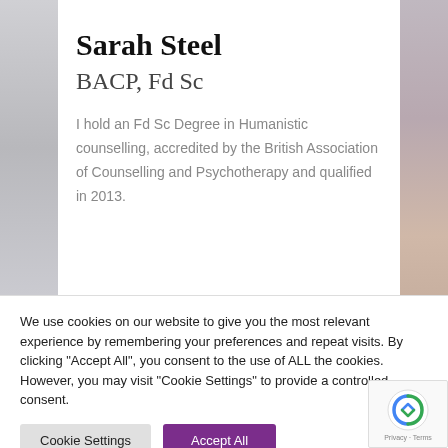[Figure (photo): Partial photo of Sarah Steel on the left side]
Sarah Steel
BACP, Fd Sc
I hold an Fd Sc Degree in Humanistic counselling, accredited by the British Association of Counselling and Psychotherapy and qualified in 2013.
[Figure (photo): Partial photo on the right side]
We use cookies on our website to give you the most relevant experience by remembering your preferences and repeat visits. By clicking "Accept All", you consent to the use of ALL the cookies. However, you may visit "Cookie Settings" to provide a controlled consent.
Cookie Settings
Accept All